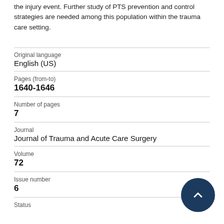the injury event. Further study of PTS prevention and control strategies are needed among this population within the trauma care setting.
| Field | Value |
| --- | --- |
| Original language | English (US) |
| Pages (from-to) | 1640-1646 |
| Number of pages | 7 |
| Journal | Journal of Trauma and Acute Care Surgery |
| Volume | 72 |
| Issue number | 6 |
| Status |  |